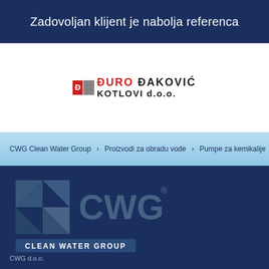Zadovoljan klijent je nabolja referenca
[Figure (logo): Đuro Đaković Kotlovi d.o.o. company logo with red and black text and icon]
CWG Clean Water Group > Proizvodi za obradu vode > Pumpe za kemikalije
[Figure (logo): CWG Clean Water Group logo on dark blue background with triangular pinwheel icon and 'CLEAN WATER GROUP' text label]
CWG d.o.o.